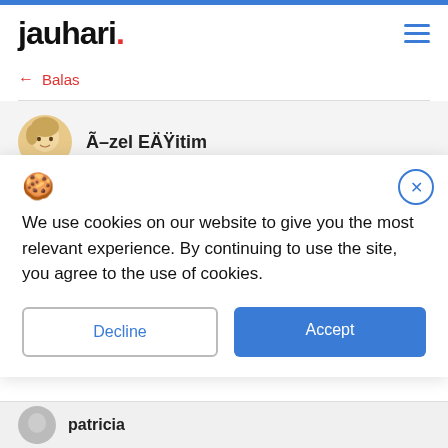jauhari.
← Balas
Ã–zel EÄŸitim
[Figure (screenshot): Cookie consent banner with cookie icon, close X button, message 'We use cookies on our website to give you the most relevant experience. By continuing to use the site, you agree to the use of cookies.', Decline and Accept buttons]
patricia